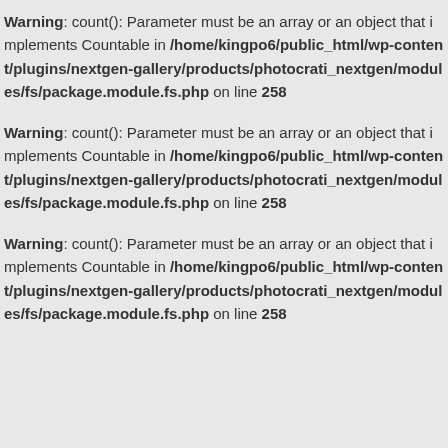Warning: count(): Parameter must be an array or an object that implements Countable in /home/kingpo6/public_html/wp-content/plugins/nextgen-gallery/products/photocrati_nextgen/modules/fs/package.module.fs.php on line 258
Warning: count(): Parameter must be an array or an object that implements Countable in /home/kingpo6/public_html/wp-content/plugins/nextgen-gallery/products/photocrati_nextgen/modules/fs/package.module.fs.php on line 258
Warning: count(): Parameter must be an array or an object that implements Countable in /home/kingpo6/public_html/wp-content/plugins/nextgen-gallery/products/photocrati_nextgen/modules/fs/package.module.fs.php on line 258